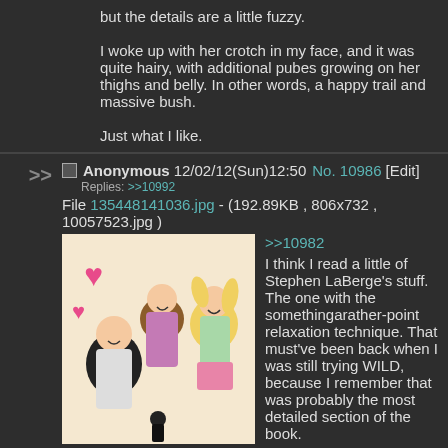but the details are a little fuzzy.

I woke up with her crotch in my face, and it was quite hairy, with additional pubes growing on her thighs and belly. In other words, a happy trail and massive bush.

Just what I like.
>> Anonymous 12/02/12(Sun)12:50 No. 10986 [Edit]
Replies: >>10992
File 135448141036.jpg - (192.89KB , 806x732 , 10057523.jpg )
>>10982
I think I read a little of Stephen LaBerge's stuff. The one with the somethingarather-point relaxation technique. That must've been back when I was still trying WILD, because I remember that was probably the most detailed section of the book.
IRAAll bigger...